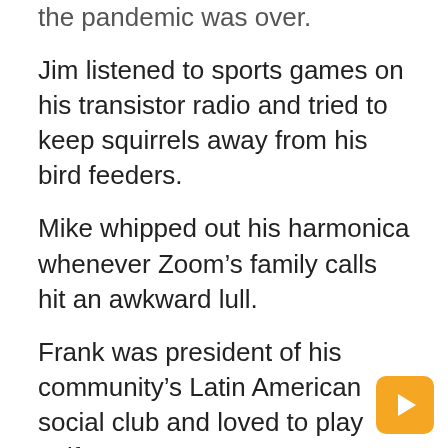the pandemic was over.
Jim listened to sports games on his transistor radio and tried to keep squirrels away from his bird feeders.
Mike whipped out his harmonica whenever Zoom’s family calls hit an awkward lull.
Frank was president of his community’s Latin American social club and loved to play golf.
Mark has tutored first generation college students and played Clue online with his grandchildren.
Rachel enjoyed reading on her Kindle on her bed while her great grandson